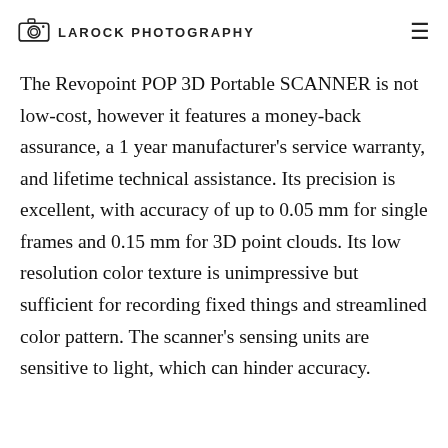LAROCK PHOTOGRAPHY
The Revopoint POP 3D Portable SCANNER is not low-cost, however it features a money-back assurance, a 1 year manufacturer's service warranty, and lifetime technical assistance. Its precision is excellent, with accuracy of up to 0.05 mm for single frames and 0.15 mm for 3D point clouds. Its low resolution color texture is unimpressive but sufficient for recording fixed things and streamlined color pattern. The scanner's sensing units are sensitive to light, which can hinder accuracy.